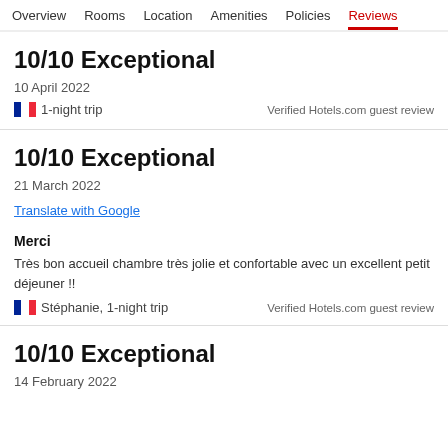Overview  Rooms  Location  Amenities  Policies  Reviews
10/10 Exceptional
10 April 2022
🇫🇷 1-night trip
Verified Hotels.com guest review
10/10 Exceptional
21 March 2022
Translate with Google
Merci
Très bon accueil chambre très jolie et confortable avec un excellent petit déjeuner !!
🇫🇷 Stéphanie, 1-night trip
Verified Hotels.com guest review
10/10 Exceptional
14 February 2022